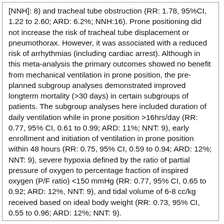[NNH]: 8) and tracheal tube obstruction (RR: 1.78, 95%CI, 1.22 to 2.60; ARD: 6.2%; NNH:16). Prone positioning did not increase the risk of tracheal tube displacement or pneumothorax. However, it was associated with a reduced risk of arrhythmias (including cardiac arrest). Although in this meta-analysis the primary outcomes showed no benefit from mechanical ventilation in prone position, the pre-planned subgroup analyses demonstrated improved longterm mortality (>30 days) in certain subgroups of patients. The subgroup analyses here included duration of daily ventilation while in prone position >16hrs/day (RR: 0.77, 95% CI, 0.61 to 0.99; ARD: 11%; NNT: 9), early enrollment and initiation of ventilation in prone position within 48 hours (RR: 0.75, 95% CI, 0.59 to 0.94; ARD: 12%; NNT: 9), severe hypoxia defined by the ratio of partial pressure of oxygen to percentage fraction of inspired oxygen (P/F ratio) <150 mmHg (RR: 0.77, 95% CI, 0.65 to 0.92; ARD: 12%, NNT: 9), and tidal volume of 6-8 cc/kg received based on ideal body weight (RR: 0.73, 95% CI, 0.55 to 0.96; ARD: 12%; NNT: 9).